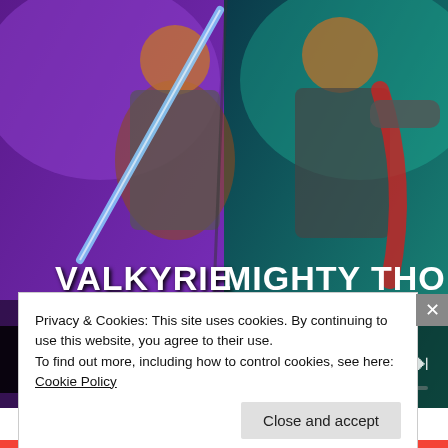[Figure (screenshot): Marvel game advertisement showing Valkyrie and Mighty Thor characters with star ratings. Left side: VALKYRIE, HERO, COSMIC, SKILL, BRAWLER, ASGARDIAN with 6 gold stars. Right side: MIGHTY THOR, HERO, COSMIC, MYSTIC, CONTROLLER, ASGARDIAN with 6 gold stars. Purple/teal background with game UI elements.]
iPhone owners are obsessed with this Marvel game
Privacy & Cookies: This site uses cookies. By continuing to use this website, you agree to their use.
To find out more, including how to control cookies, see here: Cookie Policy
Close and accept